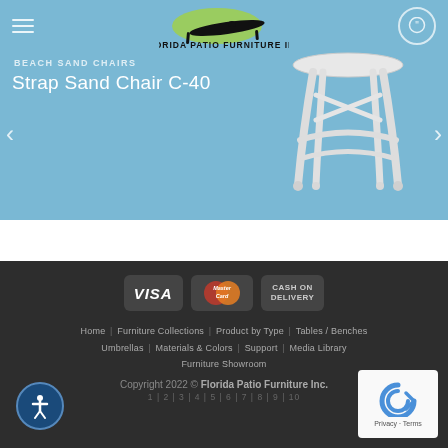[Figure (screenshot): Website header with Florida Patio Furniture Inc. logo (lounge chair silhouette with yellow glow), hamburger menu icon on left, chat bubble icon on right, on a blue background]
BEACH SAND CHAIRS
Strap Sand Chair C-40
[Figure (photo): White metal bar stool / cross strap bar stool with curved legs, photographed against a white background]
BAR CHAIR
Cross Strap Bar Stool S-75C
[Figure (logo): VISA payment card logo]
[Figure (logo): MasterCard payment logo]
[Figure (logo): Cash On Delivery payment option]
Home | Furniture Collections | Product by Type | Tables / Benches | Umbrellas | Materials & Colors | Support | Media Library | Furniture Showroom
Copyright 2022 © Florida Patio Furniture Inc.
1 | 2 | 3 | 4 | 5 | 6 | 7 | 8 | 9 | 10